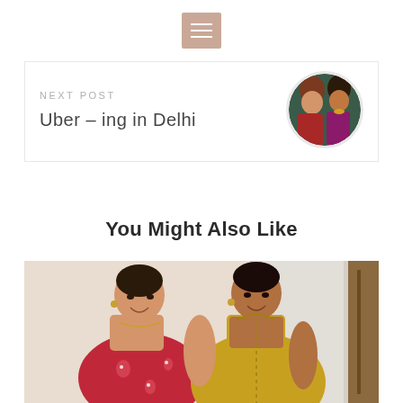Menu icon / navigation bar
NEXT POST
Uber – ing in Delhi
[Figure (photo): Circular thumbnail photo of two women smiling, dressed in colorful traditional attire]
You Might Also Like
[Figure (photo): Two women smiling together indoors. Left woman wears red floral dress, right woman wears yellow traditional long dress.]